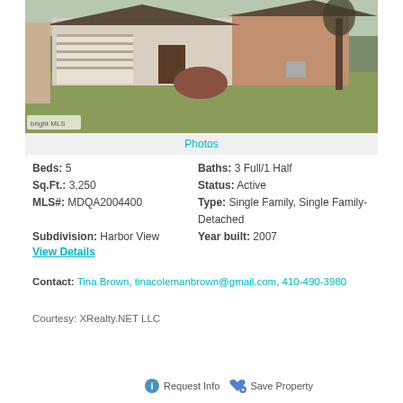[Figure (photo): Exterior photo of a single-family detached home with garage, brick facade, and front lawn with dormant grass and bare trees, watermarked with 'bright MLS' logo in lower left.]
Photos
Beds: 5
Baths: 3 Full/1 Half
Sq.Ft.: 3,250
Status: Active
MLS#: MDQA2004400
Type: Single Family, Single Family-Detached
Subdivision: Harbor View
Year built: 2007
View Details
Contact: Tina Brown, tinacolemanbrown@gmail.com, 410-490-3980
Courtesy: XRealty.NET LLC
Request Info
Save Property